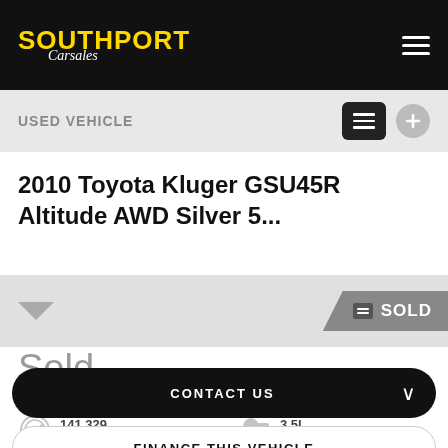SOUTHPORT Carsales
USED VEHICLE
2010 Toyota Kluger GSU45R Altitude AWD Silver 5...
[Figure (other): Sold badge banner on vehicle image thumbnail]
Sold
141,329 kms
3.5L 6 Cylinders
Sports Automatic
CONTACT US
FINANCE THIS VEHICLE